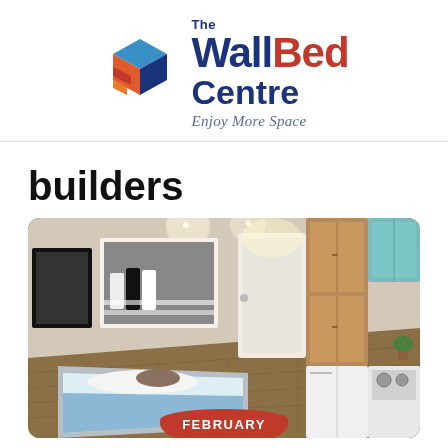[Figure (logo): The WallBed Centre logo with geometric cube icon in blue, red, and orange, text 'The WallBed Centre' in dark navy and red, tagline 'Enjoy More Space' in italic script]
builders
[Figure (photo): Interior render of a compact studio apartment showing a bed with white and blue bedding and decorative pillow, Abbey Road Beatles poster on wall, white doorway, wooden wardrobe cabinet, refrigerator, overhead teal-glass kitchen cabinets, cooktop, and hardwood flooring. A red circular badge at the bottom center reads 'FEBRUARY'.]